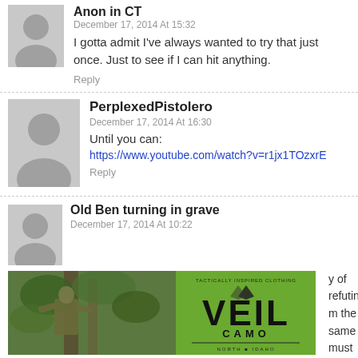Anon in CT
December 17, 2014 At 15:32
I gotta admit I've always wanted to try that just once. Just to see if I can hit anything.
Reply
PerplexedPistolero
December 17, 2014 At 16:30
Until you can:
https://www.youtube.com/watch?v=r1jx1TOzxrE
Reply
Old Ben turning in grave
December 17, 2014 At 10:22
y of refuting m the same must pay for patient.
[Figure (photo): Split image: left side shows a person in camouflage clothing in a tree stand, right side shows a green VEIL CAMO logo/advertisement]